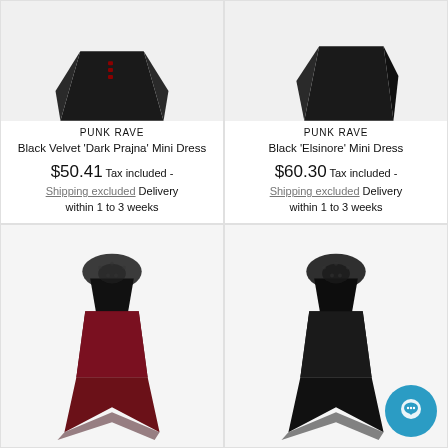[Figure (photo): Partial view of black velvet garment/top with red details, cropped at top]
PUNK RAVE
Black Velvet 'Dark Prajna' Mini Dress
$50.41 Tax included - Shipping excluded Delivery within 1 to 3 weeks
[Figure (photo): Partial view of black garment/dress, cropped at top]
PUNK RAVE
Black 'Elsinore' Mini Dress
$60.30 Tax included - Shipping excluded Delivery within 1 to 3 weeks
[Figure (photo): Dark red/burgundy gothic hi-low dress with black lace yoke and sheer bottom hem, full length view]
[Figure (photo): Black gothic hi-low dress with black lace yoke and sheer bottom hem, full length view, chat button overlay]